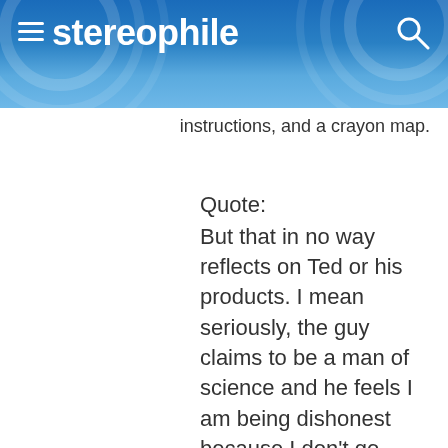stereophile
instructions, and a crayon map.
Quote:
But that in no way reflects on Ted or his products. I mean seriously, the guy claims to be a man of science and he feels I am being dishonest because I don't go back and re-examine completely bogus